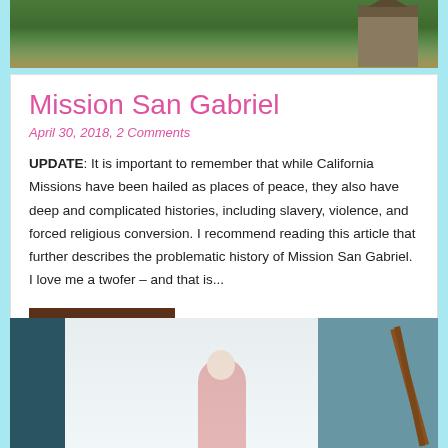[Figure (photo): Exterior photo of Mission San Gabriel building with trees and foliage in background]
Mission San Gabriel
April 30, 2018, 2 Comments
UPDATE: It is important to remember that while California Missions have been hailed as places of peace, they also have deep and complicated histories, including slavery, violence, and forced religious conversion. I recommend reading this article that further describes the problematic history of Mission San Gabriel. I love me a twofer – and that is...
Read More...
[Figure (photo): Interior photo showing a person on stairs with teal/blue painted stair railing and wooden banister]